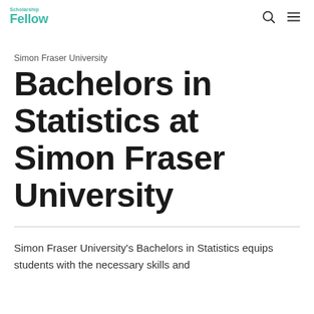Scholarship Fellow
Simon Fraser University
Bachelors in Statistics at Simon Fraser University
Simon Fraser University's Bachelors in Statistics equips students with the necessary skills and